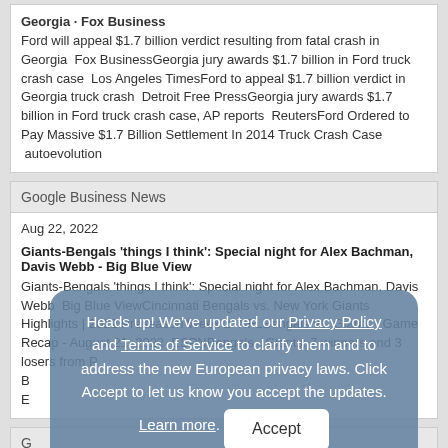Georgia  Fox Business
Ford will appeal $1.7 billion verdict resulting from fatal crash in Georgia  Fox BusinessGeorgia jury awards $1.7 billion in Ford truck crash case  Los Angeles TimesFord to appeal $1.7 billion verdict in Georgia truck crash  Detroit Free PressGeorgia jury awards $1.7 billion in Ford truck crash case, AP reports  ReutersFord Ordered to Pay Massive $1.7 Billion Settlement In 2014 Truck Crash Case  autoevolution
Google Business News
Aug 22, 2022
Giants-Bengals 'things I think': Special night for Alex Bachman, Davis Webb - Big Blue View
Giants-Bengals 'things I think': Special night for Alex Bachman, Davis Webb  Big Blue ViewCincinnati Bengals vs. New York Giants Highlights | 2022 Preseason Week 2  NFLBengals vs. Giants - Game Recap - August 21, 2022  ESPNBengals - Giants: 7 winners and 3 losers from P... B... E...
Heads up! We've updated our Privacy Policy and Terms of Service to clarify them and to address the new European privacy laws. Click Accept to let us know you accept the updates. Learn more.